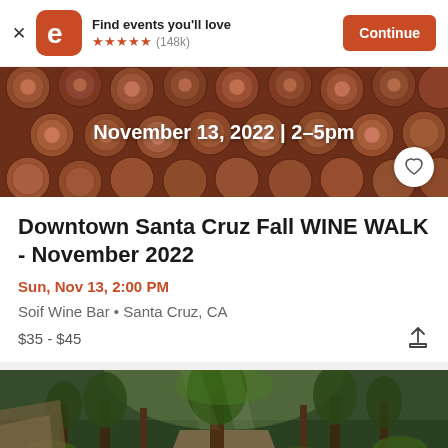Find events you'll love ★★★★★ (148k) Continue
[Figure (photo): Wine corks close-up image with date overlay: November 13, 2022 | 2-5pm]
Downtown Santa Cruz Fall WINE WALK - November 2022
Sun, Nov 13, 2:00 PM
Soif Wine Bar • Santa Cruz, CA
$35 - $45
[Figure (photo): Forest trail with redwood trees and green foliage]